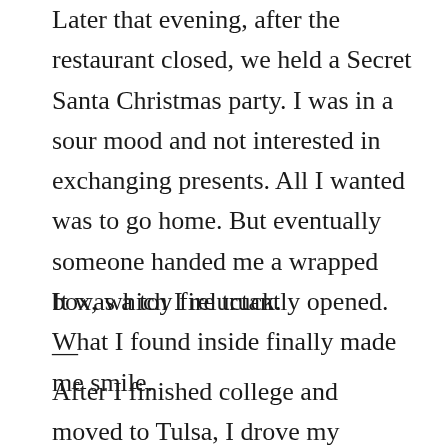Later that evening, after the restaurant closed, we held a Secret Santa Christmas party. I was in a sour mood and not interested in exchanging presents. All I wanted was to go home. But eventually someone handed me a wrapped box, which I reluctantly opened. What I found inside finally made me smile.
It was a toy fire truck.
—
After I finished college and moved to Tulsa, I drove my girlfriend to Corpus to show her where I had grown up. I was especially excited